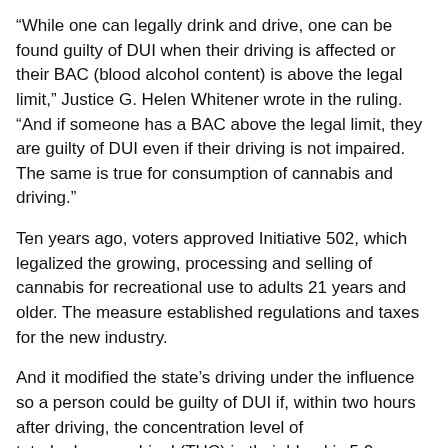“While one can legally drink and drive, one can be found guilty of DUI when their driving is affected or their BAC (blood alcohol content) is above the legal limit,” Justice G. Helen Whitener wrote in the ruling. “And if someone has a BAC above the legal limit, they are guilty of DUI even if their driving is not impaired. The same is true for consumption of cannabis and driving.”
Ten years ago, voters approved Initiative 502, which legalized the growing, processing and selling of cannabis for recreational use to adults 21 years and older. The measure established regulations and taxes for the new industry.
And it modified the state’s driving under the influence so a person could be guilty of DUI if, within two hours after driving, the concentration level of tetrahydrocannabinol (THC) in their blood is 5.0 nanograms per milliliter or higher.
Around 6:30 p.m. on July 11, 2017, a trooper clocked Fraser at 81 mph going north on I-5 near the Everett Mall. The trooper reported seeing Fraser driving by himself in the HOV lane, erratically changing lanes and cutting off another driver, causing that person to slam on their brakes.
When the trooper pulled him over, Fraser was slightly